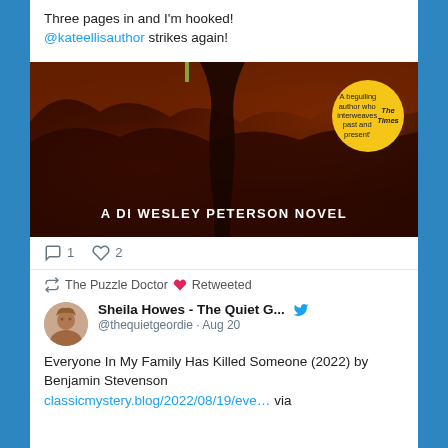Three pages in and I'm hooked! @kateellisauthor strikes again!
[Figure (photo): Book cover photo showing 'A DI Wesley Peterson Novel' with a dark reddish landscape background and a yellow circular badge reading 'A beguiling author who interweaves past and present' The Times]
1  2 (reply and like counts)
The Puzzle Doctor 💙 Retweeted
Sheila Howes - The Quiet G... @thequietgeordie · Aug 20
Everyone In My Family Has Killed Someone (2022) by Benjamin Stevenson classicmystery.blog/2022/08/19/eve… via